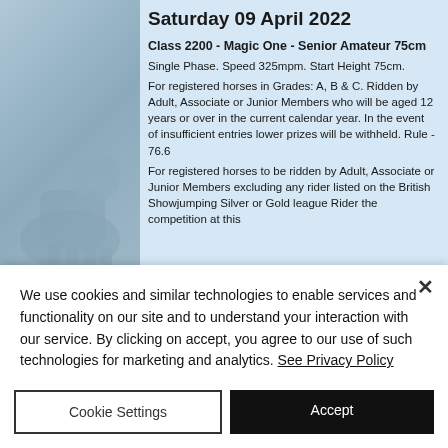Saturday 09 April 2022
Class 2200 - Magic One - Senior Amateur 75cm
Single Phase. Speed 325mpm. Start Height 75cm.
For registered horses in Grades: A, B & C. Ridden by Adult, Associate or Junior Members who will be aged 12 years or over in the current calendar year. In the event of insufficient entries lower prizes will be withheld. Rule - 76.6
For registered horses to be ridden by Adult, Associate or Junior Members excluding any rider listed on the British Showjumping Silver or Gold league Rider the competition at this
We use cookies and similar technologies to enable services and functionality on our site and to understand your interaction with our service. By clicking on accept, you agree to our use of such technologies for marketing and analytics. See Privacy Policy
Cookie Settings
Accept